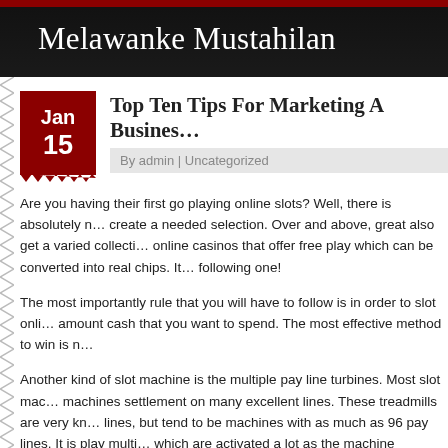Melawanke Mustahilan
Top Ten Tips For Marketing A Business
By admin | Uncategorized
Are you having their first go playing online slots? Well, there is absolutely no need to create a needed selection. Over and above, great also get a varied collection of online casinos that offer free play which can be converted into real chips. If following one!
The most importantly rule that you will have to follow is in order to slot online amount cash that you want to spend. The most effective method to win is n
Another kind of slot machine is the multiple pay line turbines. Most slot machines settlement on many excellent lines. These treadmills are very known lines, but tend to be machines with as much as 96 pay lines. It is play multi which are activated a lot as the machine maximum number of lines.